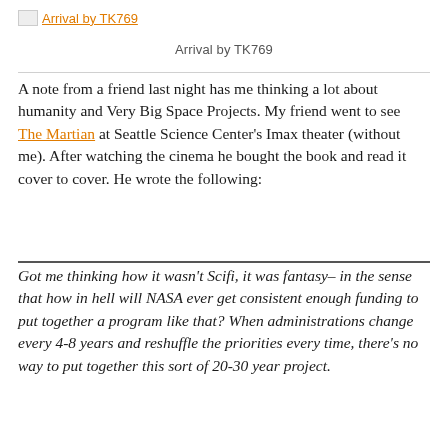Arrival by TK769
Arrival by TK769
A note from a friend last night has me thinking a lot about humanity and Very Big Space Projects. My friend went to see The Martian at Seattle Science Center's Imax theater (without me). After watching the cinema he bought the book and read it cover to cover. He wrote the following:
Got me thinking how it wasn't Scifi, it was fantasy– in the sense that how in hell will NASA ever get consistent enough funding to put together a program like that? When administrations change every 4-8 years and reshuffle the priorities every time, there's no way to put together this sort of 20-30 year project.